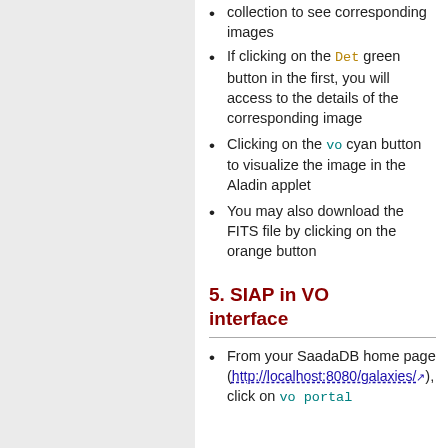in the map, click on a collection to see corresponding images
If clicking on the Det green button in the first, you will access to the details of the corresponding image
Clicking on the vo cyan button to visualize the image in the Aladin applet
You may also download the FITS file by clicking on the orange button
5. SIAP in VO interface
From your SaadaDB home page (http://localhost:8080/galaxies/), click on vo portal